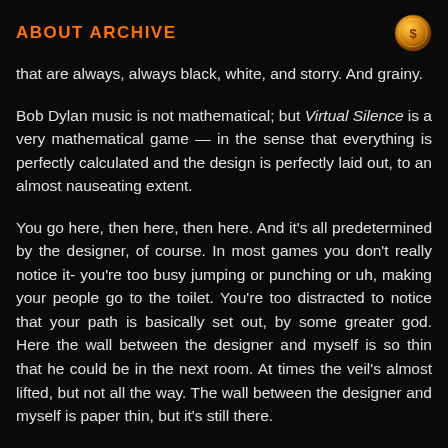ABOUT ARCHIVE
that are always, always black, white, and storry. And grainy.
Bob Dylan music is not mathematical; but Virtual Silence is a very mathematical game — in the sense that everything is perfectly calculated and the design is perfectly laid out, to an almost nauseating extent.
You go here, then here, then here. And it's all predetermined by the designer, of course. In most games you don't really notice it- you're too busy jumping or punching or uh, making your people go to the toilet. You're too distracted to notice that your path is basically set out, by some greater god. Here the wall between the designer and myself is so thin that he could be in the next room. At times the veil's almost lifted, but not all the way. The wall between the designer and myself is paper thin, but it's still there.